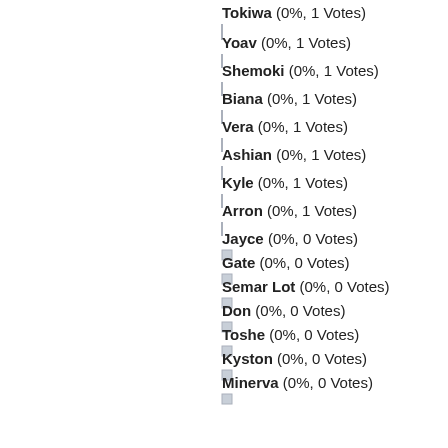[Figure (bar-chart): Vote results]